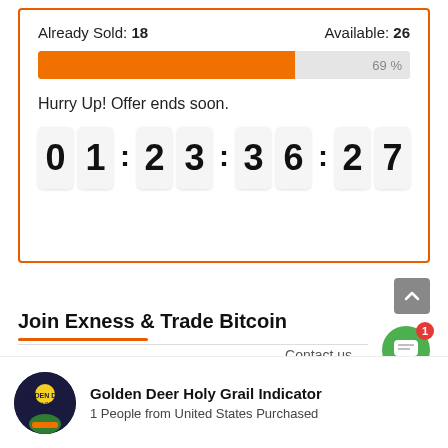Already Sold: 18    Available: 26
[Figure (infographic): Orange progress bar showing 69% sold]
Hurry Up! Offer ends soon.
0 1 : 2 3 : 3 6 : 2 7
Join Exness & Trade Bitcoin
Contact us
Golden Deer Holy Grail Indicator
1 People from United States Purchased